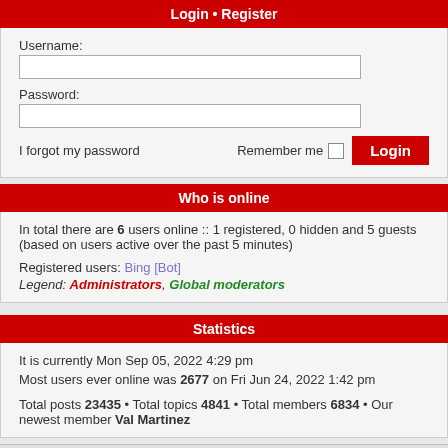Login • Register
Username:
Password:
I forgot my password    Remember me   Login
Who is online
In total there are 6 users online :: 1 registered, 0 hidden and 5 guests (based on users active over the past 5 minutes)
Registered users: Bing [Bot]
Legend: Administrators, Global moderators
Statistics
It is currently Mon Sep 05, 2022 4:29 pm
Most users ever online was 2677 on Fri Jun 24, 2022 1:42 pm
Total posts 23435 • Total topics 4841 • Total members 6834 • Our newest member Val Martinez
The team    Members    Delete cookies    All times are UTC-05:00